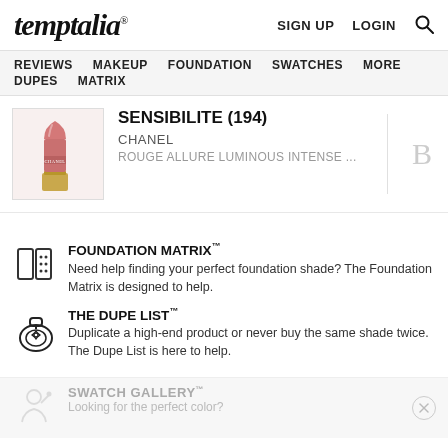temptalia® — SIGN UP  LOGIN  🔍
REVIEWS  MAKEUP  FOUNDATION  SWATCHES  MORE  DUPES  MATRIX
[Figure (photo): Pink/rose lipstick bullet (Chanel Rouge Allure) angled, showing the Chanel text on the bullet]
SENSIBILITE (194)
CHANEL
ROUGE ALLURE LUMINOUS INTENSE ...
B
[Figure (illustration): Foundation matrix icon: two rectangles with dots]
FOUNDATION MATRIX™
Need help finding your perfect foundation shade? The Foundation Matrix is designed to help.
[Figure (illustration): Dupe list icon: circular bottle/compact]
THE DUPE LIST™
Duplicate a high-end product or never buy the same shade twice. The Dupe List is here to help.
[Figure (illustration): Swatch gallery icon: person applying makeup]
SWATCH GALLERY™
Looking for the perfect color?